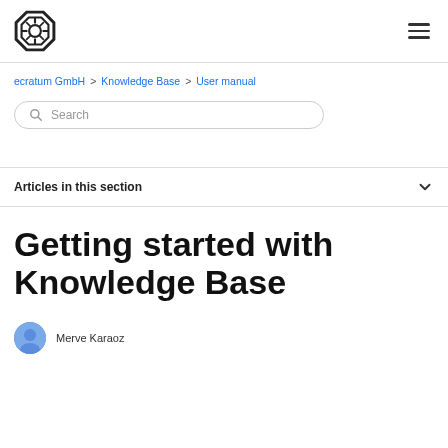ecratum GmbH logo and navigation menu
ecratum GmbH > Knowledge Base > User manual
Search
Articles in this section
Getting started with Knowledge Base
Merve Karaoz